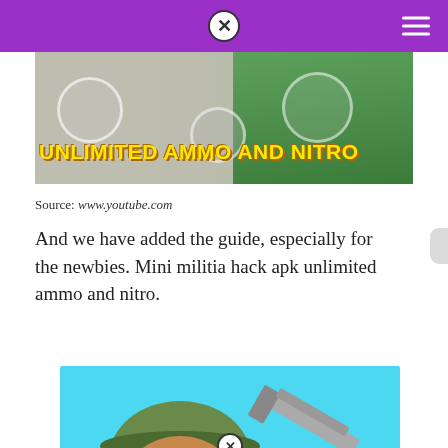[Figure (screenshot): Game screenshot showing 'UNLIMITED AMMO AND NITRO' text in yellow on a game background]
Source: www.youtube.com
And we have added the guide, especially for the newbies. Mini militia hack apk unlimited ammo and nitro.
[Figure (illustration): Cartoon illustration of a mini militia soldier with green helmet and a gun on cyan background]